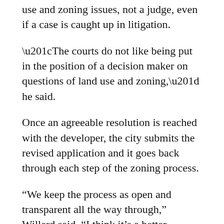use and zoning issues, not a judge, even if a case is caught up in litigation.
“The courts do not like being put in the position of a decision maker on questions of land use and zoning,” he said.
Once an agreeable resolution is reached with the developer, the city submits the revised application and it goes back through each step of the zoning process.
“We keep the process as open and transparent all the way through,” Willard said. “I think it’s a better approach.”